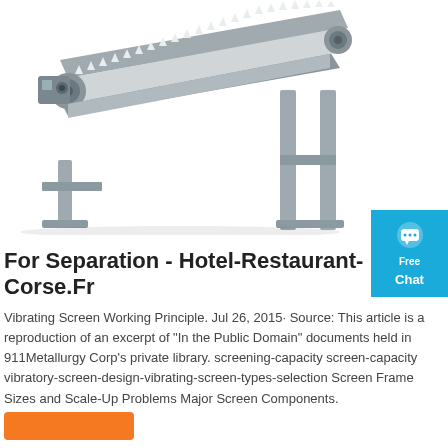[Figure (photo): Industrial vibrating screen / conveyor machine with metal frame and ridged belt, shown on white background. A blue 'Free Chat' button widget appears in the upper right corner of the page.]
For Separation - Hotel-Restaurant-Corse.Fr
Vibrating Screen Working Principle. Jul 26, 2015· Source: This article is a reproduction of an excerpt of "In the Public Domain" documents held in 911Metallurgy Corp's private library. screening-capacity screen-capacity vibratory-screen-design-vibrating-screen-types-selection Screen Frame Sizes and Scale-Up Problems Major Screen Components.